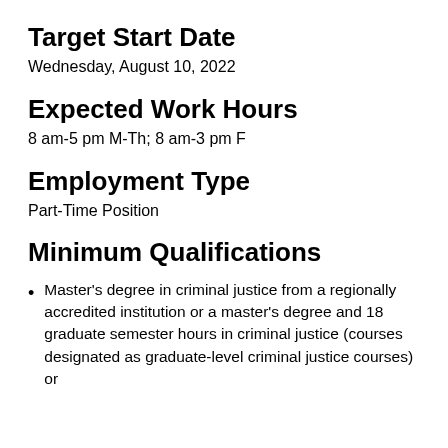Target Start Date
Wednesday, August 10, 2022
Expected Work Hours
8 am-5 pm M-Th; 8 am-3 pm F
Employment Type
Part-Time Position
Minimum Qualifications
Master's degree in criminal justice from a regionally accredited institution or a master's degree and 18 graduate semester hours in criminal justice (courses designated as graduate-level criminal justice courses) or